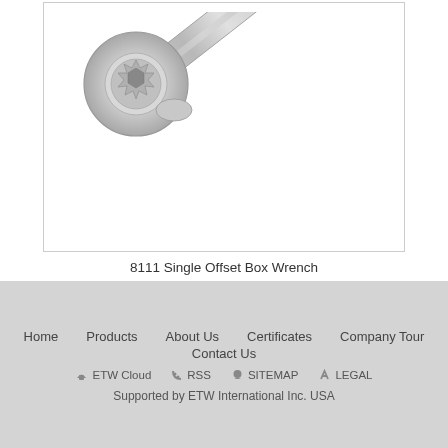[Figure (photo): A single offset box wrench (model 8111) with a 12-point ring head on the left end and a long, flat, slightly tapered handle extending to the lower right. The wrench is silver/metallic gray with rounded edges.]
8111 Single Offset Box Wrench
Home   Products   About Us   Certificates   Company Tour   Contact Us   ETW Cloud   RSS   SITEMAP   LEGAL   Supported by ETW International Inc. USA